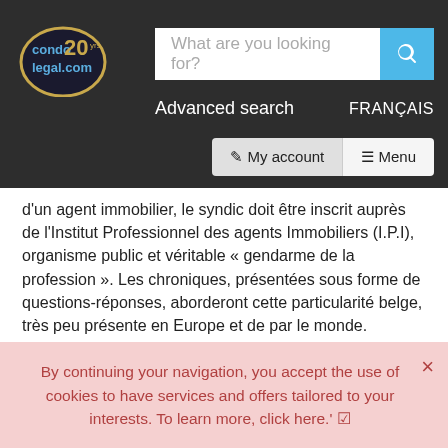[Figure (screenshot): Website navigation header with condolegal.com logo (20th anniversary), search bar with placeholder 'What are you looking for?', blue search button, Advanced search link, FRANÇAIS link, My account button, and Menu button on dark background]
d'un agent immobilier, le syndic doit être inscrit auprès de l'Institut Professionnel des agents Immobiliers (I.P.I), organisme public et véritable « gendarme de la profession ». Les chroniques, présentées sous forme de questions-réponses, aborderont cette particularité belge, très peu présente en Europe et de par le monde.
View more ›
THE GOOD CONDO MANAGER
The search for a good condo manager is like the quest for a good
By continuing your navigation, you accept the use of cookies to have services and offers tailored to your interests. To learn more, click here.' ☑